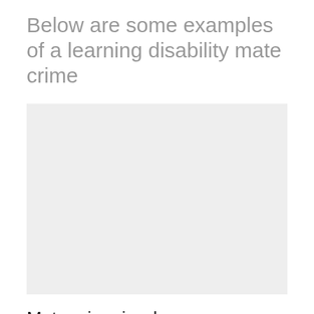Below are some examples of a learning disability mate crime
[Figure (photo): Light grey placeholder image box]
Mate crime is when someone